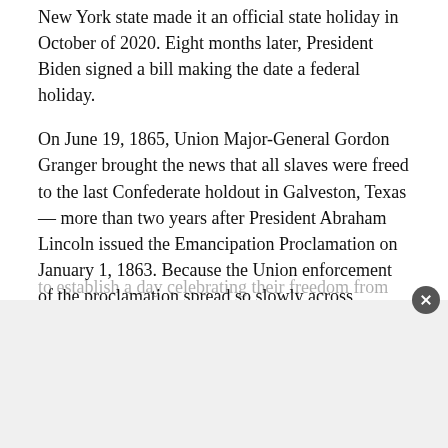New York state made it an official state holiday in October of 2020. Eight months later, President Biden signed a bill making the date a federal holiday.
On June 19, 1865, Union Major-General Gordon Granger brought the news that all slaves were freed to the last Confederate holdout in Galveston, Texas — more than two years after President Abraham Lincoln issued the Emancipation Proclamation on January 1, 1863. Because the Union enforcement of the proclamation spread so slowly across America's states and territories, African-Americans coined the word “Juneteenth” to establish a day celebrating their freedom from